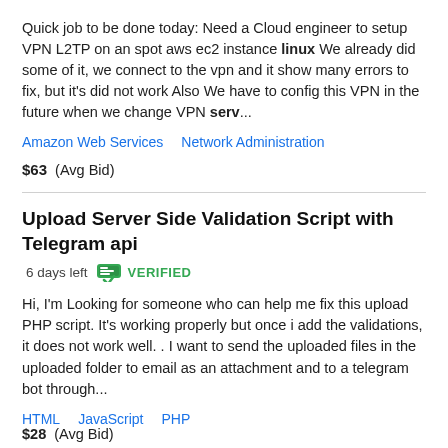Quick job to be done today: Need a Cloud engineer to setup VPN L2TP on an spot aws ec2 instance linux We already did some of it, we connect to the vpn and it show many errors to fix, but it's did not work Also We have to config this VPN in the future when we change VPN serv...
Amazon Web Services   Network Administration
$63  (Avg Bid)
Upload Server Side Validation Script with Telegram api  6 days left  VERIFIED
Hi, I'm Looking for someone who can help me fix this upload PHP script. It's working properly but once i add the validations, it does not work well. . I want to send the uploaded files in the uploaded folder to email as an attachment and to a telegram bot through...
HTML   JavaScript   PHP
$28  (Avg Bid)